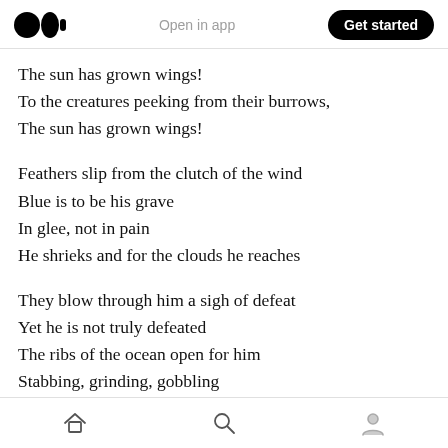Open in app | Get started
The sun has grown wings!
To the creatures peeking from their burrows,
The sun has grown wings!

Feathers slip from the clutch of the wind
Blue is to be his grave
In glee, not in pain
He shrieks and for the clouds he reaches

They blow through him a sigh of defeat
Yet he is not truly defeated
The ribs of the ocean open for him
Stabbing, grinding, gobbling
Home | Search | Profile